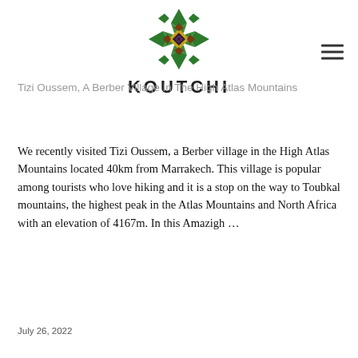[Figure (logo): Koutchi logo: a diamond-shaped mosaic pattern in green, yellow, brown, and black squares, with the text KOUTCHI below it in bold spaced lettering]
Tizi Oussem, A Berber Village In The High Atlas Mountains
We recently visited Tizi Oussem, a Berber village in the High Atlas Mountains located 40km from Marrakech. This village is popular among tourists who love hiking and it is a stop on the way to Toubkal mountains, the highest peak in the Atlas Mountains and North Africa with an elevation of 4167m. In this Amazigh …
Continue reading
July 26, 2022